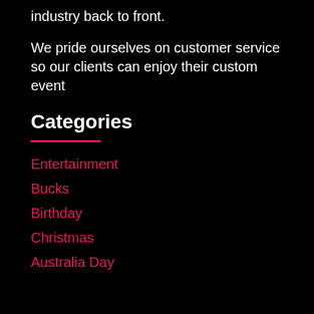industry back to front.
We pride ourselves on customer service so our clients can enjoy their custom event
Categories
Entertainment
Bucks
Birthday
Christmas
Australia Day